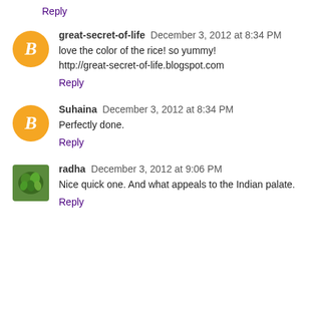Reply
great-secret-of-life December 3, 2012 at 8:34 PM
love the color of the rice! so yummy!
http://great-secret-of-life.blogspot.com
Reply
Suhaina December 3, 2012 at 8:34 PM
Perfectly done.
Reply
radha December 3, 2012 at 9:06 PM
Nice quick one. And what appeals to the Indian palate.
Reply